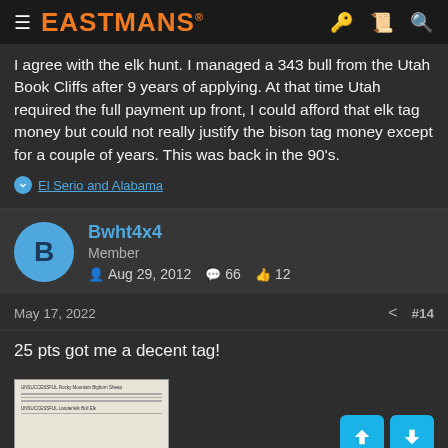EASTMANS
I agree with the elk hunt. I managed a 343 bull from the Utah Book Cliffs after 9 years of applying. At that time Utah required the full payment up front, I could afford that elk tag money but could not really justify the bison tag money except for a couple of years. This was back in the 90's.
El Serio and Alabama
Bwht4x4
Member
Aug 29, 2012  66  12
May 17, 2022  #14
25 pts got me a decent tag!
[Figure (photo): Thumbnail image of a document/tag with text lines]